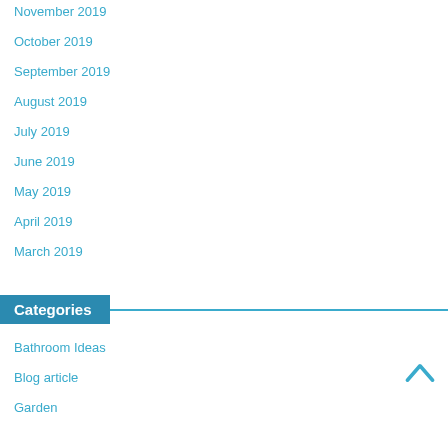November 2019
October 2019
September 2019
August 2019
July 2019
June 2019
May 2019
April 2019
March 2019
Categories
Bathroom Ideas
Blog article
Garden